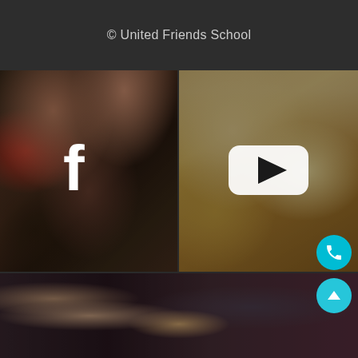© United Friends School
[Figure (photo): Children sitting together on the floor, engaging in an activity with a bowl of fruit; Facebook logo overlay in white]
[Figure (photo): Child's hand writing on a music worksheet with musical notes printed on it; YouTube logo overlay in white]
[Figure (photo): Children close up, one wearing a pink mask, photographed from above]